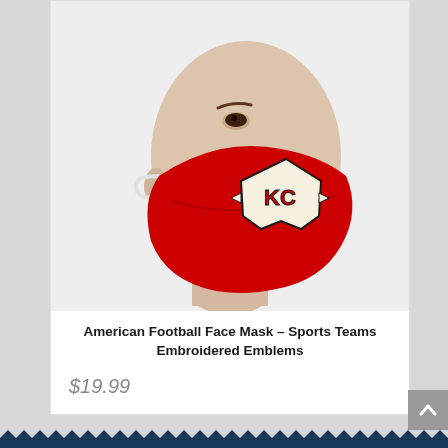[Figure (photo): A mannequin head wearing a red Kansas City Chiefs face mask with embroidered KC arrowhead logo on a light grey background]
American Football Face Mask – Sports Teams Embroidered Emblems
$19.99
[Figure (logo): EmbroSoft Canada Corp logo with crown icon in teal/cyan color on dark navy blue background]